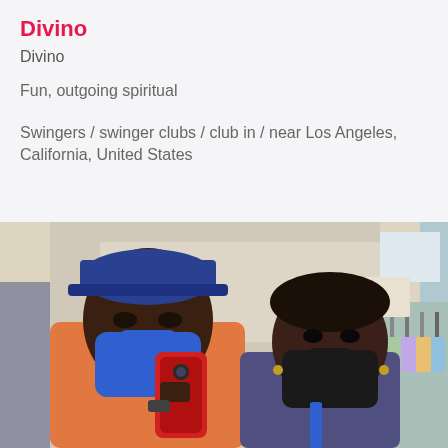Divino
Divino
Fun, outgoing spiritual
Swingers / swinger clubs / club in / near Los Angeles, California, United States
[Figure (photo): Two people wearing face masks taking a mirror selfie in what appears to be a retail clothing store. The person on the left wears a blue cap, blue face mask, and orange shirt, holding a red phone. The person on the right wears a black face mask. A store sign reading 'xom' is visible in the background.]